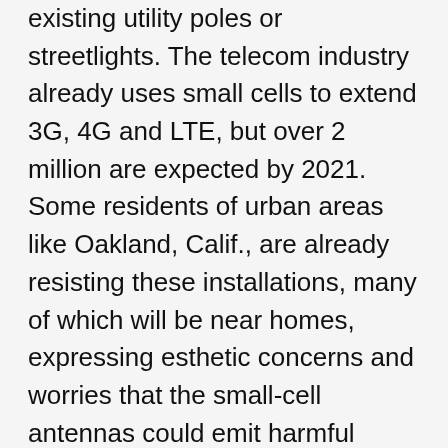existing utility poles or streetlights. The telecom industry already uses small cells to extend 3G, 4G and LTE, but over 2 million are expected by 2021. Some residents of urban areas like Oakland, Calif., are already resisting these installations, many of which will be near homes, expressing esthetic concerns and worries that the small-cell antennas could emit harmful electromagnetic waves. But the federal Telecommunications Act of 1996 prohibits local governments from blocking their installation as long as the emissions fall below the levels the FCC deems safe. A 2018 order by the Federal Communications Commission restricts the ability of cities to regulate 5G even more.
Rollout costs of 5G and related infrastructure